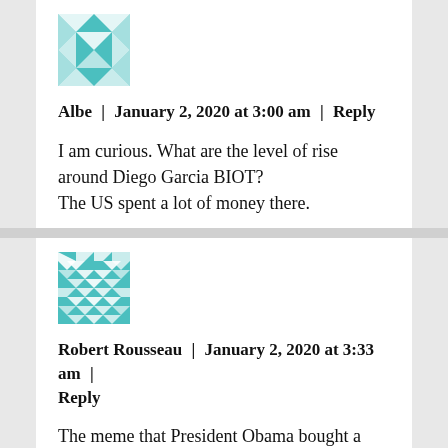[Figure (illustration): Teal/cyan geometric quilt-pattern avatar for user Albe]
Albe | January 2, 2020 at 3:00 am | Reply
I am curious. What are the level of rise around Diego Garcia BIOT?
The US spent a lot of money there.
[Figure (illustration): Teal/cyan geometric quilt-pattern avatar for user Robert Rousseau]
Robert Rousseau | January 2, 2020 at 3:33 am | Reply
The meme that President Obama bought a beach front home is a vicious LIE.
A significant root cause of America's